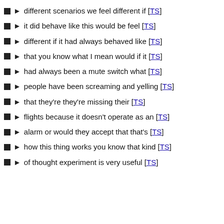different scenarios we feel different if [TS]
it did behave like this would be feel [TS]
different if it had always behaved like [TS]
that you know what I mean would if it [TS]
had always been a mute switch what [TS]
people have been screaming and yelling [TS]
that they're they're missing their [TS]
flights because it doesn't operate as an [TS]
alarm or would they accept that that's [TS]
how this thing works you know that kind [TS]
of thought experiment is very useful [TS]